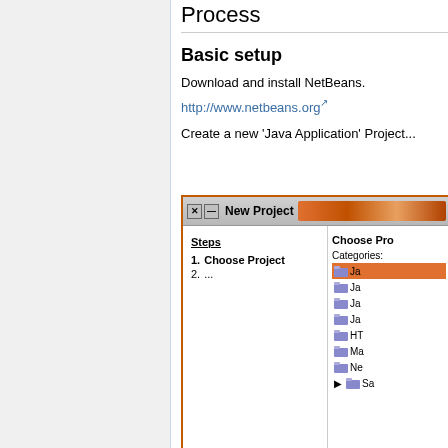Process
Basic setup
Download and install NetBeans.
http://www.netbeans.org
Create a new 'Java Application' Project...
[Figure (screenshot): NetBeans 'New Project' dialog showing Steps panel with 'Choose Project' selected, and Categories panel on the right listing Java, Java EE, Java ME, Java Card, HTML5, Maven, NetBeans Modules, Samples categories.]